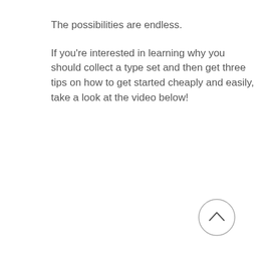The possibilities are endless.
If you're interested in learning why you should collect a type set and then get three tips on how to get started cheaply and easily, take a look at the video below!
[Figure (other): A circular button with an upward-pointing chevron arrow, indicating a scroll-to-top or back control.]